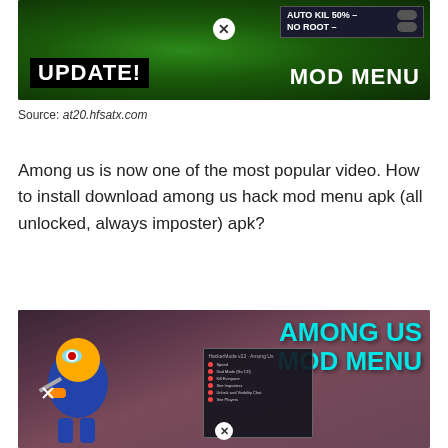[Figure (screenshot): Gaming mod menu promotional image showing 'UPDATE!' and 'MOD MENU' text with AUTO KIL 50% and NO ROOT options on green background]
Source: at20.hfsatx.com
Among us is now one of the most popular video. How to install download among us hack mod menu apk (all unlocked, always imposter) apk?
[Figure (screenshot): Among Us Mod Menu promotional image with cyan text 'AMONG US MOD MENU' and animated character holding a knife with mod menu overlay]